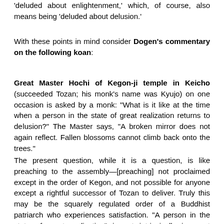'deluded about enlightenment,' which, of course, also means being 'deluded about delusion.'
With these points in mind consider Dogen's commentary on the following koan:
Great Master Hochi of Kegon-ji temple in Keicho (succeeded Tozan; his monk's name was Kyujo) on one occasion is asked by a monk: "What is it like at the time when a person in the state of great realization returns to delusion?" The Master says, "A broken mirror does not again reflect. Fallen blossoms cannot climb back onto the trees."
The present question, while it is a question, is like preaching to the assembly—[preaching] not proclaimed except in the order of Kegon, and not possible for anyone except a rightful successor of Tozan to deliver. Truly this may be the squarely regulated order of a Buddhist patriarch who experiences satisfaction. "A person in the state of great realization" is not intrinsically in great realization and is not hoarding a great realization realized externally. It is not that, in old age, [the